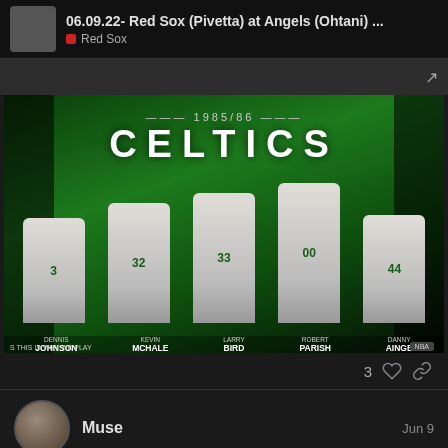06.09.22- Red Sox (Pivetta) at Angels (Ohtani) ...
Red Sox
[Figure (photo): 1985/86 Boston Celtics promotional photo showing players Dennis Johnson, Kevin McHale, Larry Bird, Robert Parish, and Danny Ainge in Celtics uniforms against a green background. Text reads '1985/86 CELTICS' at top, with player names labeled at bottom. Footer reads 'S THIS IS WHY WE PLAY'.]
3
Muse
Jun 9
Plus, he should have been ejected on the should have been ejected last night.
3/88